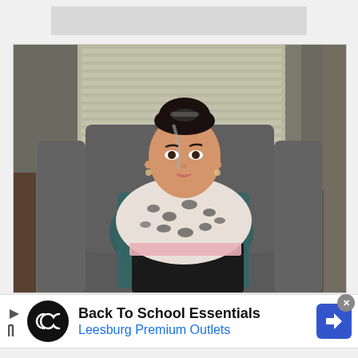[Figure (photo): Gray placeholder bar at the top of the page]
[Figure (photo): Woman with dark hair in a bun, wearing a black and white leopard print top with pink accents and black pants, sitting in a gray armchair with a teal/tropical print pillow behind her, photographed indoors near a window with blinds]
[Figure (other): Advertisement banner: Back To School Essentials - Leesburg Premium Outlets, with black circular logo featuring infinity-like symbol, blue diamond arrow icon on the right, and a close button. Play/skip icon on the left.]